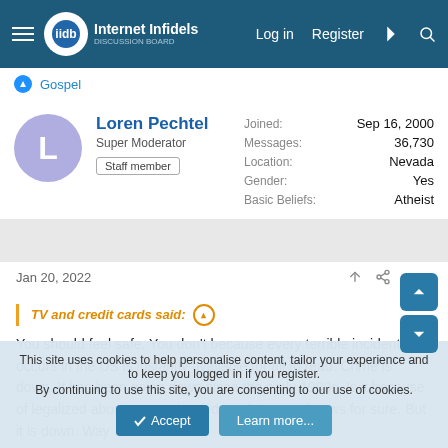Internet Infidels — Log in  Register
Gospel
Loren Pechtel
Super Moderator
Staff member
Joined: Sep 16, 2000
Messages: 36,730
Location: Nevada
Gender: Yes
Basic Beliefs: Atheist
Jan 20, 2022  #559
TV and credit cards said: ↑
You should feel safe. You don't because every terrible incident that occurs in the US is instantly available for all to read. Crime is down. It has been going down since the early 1990s. Is it because of legalized abortion or unleaded gas? No one knows for sure. But it is down. Way
This site uses cookies to help personalise content, tailor your experience and to keep you logged in if you register.
By continuing to use this site, you are consenting to our use of cookies.